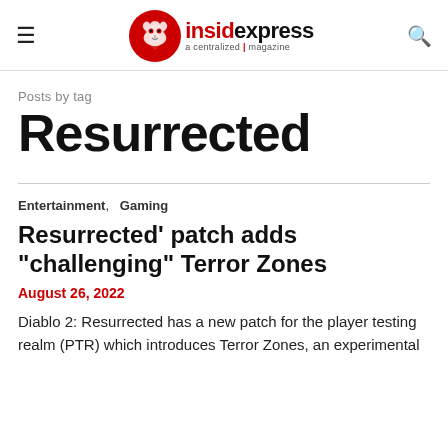insidexpress a centralized magazine
Posts by tag
Resurrected
Entertainment,   Gaming
Resurrected' patch adds "challenging" Terror Zones
August 26, 2022
Diablo 2: Resurrected has a new patch for the player testing realm (PTR) which introduces Terror Zones, an experimental